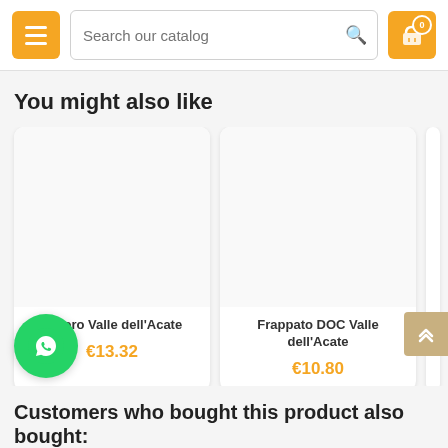Search our catalog
You might also like
[Figure (other): Product card: Il Moro Valle dell'Acate, price €13.32]
[Figure (other): Product card: Frappato DOC Valle dell'Acate, price €10.80]
Customers who bought this product also bought: